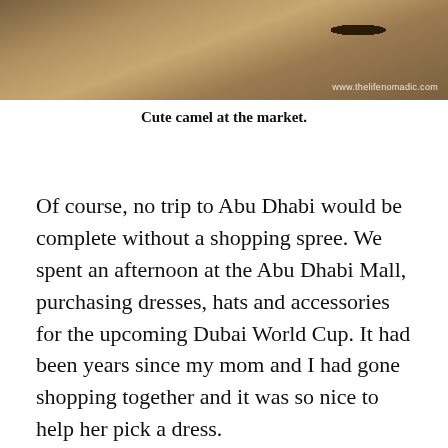[Figure (photo): A photo of a camel at a market, showing sandy ground and the camel's body/legs. Watermark 'www.thelifenomadic.com' visible in the lower right of the image.]
Cute camel at the market.
Of course, no trip to Abu Dhabi would be complete without a shopping spree. We spent an afternoon at the Abu Dhabi Mall, purchasing dresses, hats and accessories for the upcoming Dubai World Cup. It had been years since my mom and I had gone shopping together and it was so nice to help her pick a dress.